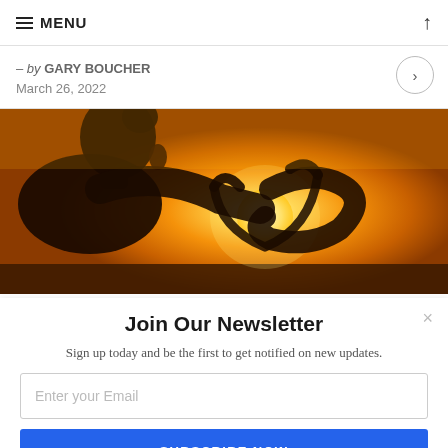≡ MENU
– by GARY BOUCHER
March 26, 2022
[Figure (photo): Silhouette of a person forming a heart shape with their hands against a warm golden sunset sky.]
Join Our Newsletter
Sign up today and be the first to get notified on new updates.
Enter your Email
SUBSCRIBE NOW